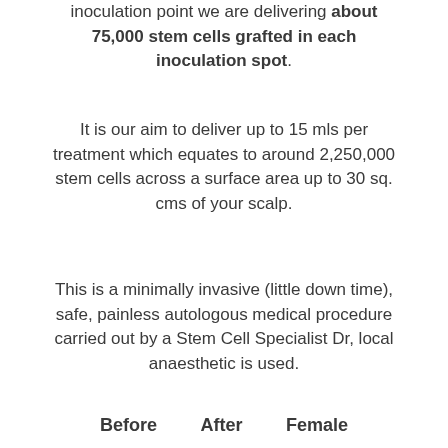inoculation point we are delivering about 75,000 stem cells grafted in each inoculation spot.
It is our aim to deliver up to 15 mls per treatment which equates to around 2,250,000 stem cells across a surface area up to 30 sq. cms of your scalp.
This is a minimally invasive (little down time), safe, painless autologous medical procedure carried out by a Stem Cell Specialist Dr, local anaesthetic is used.
Before   After   Female